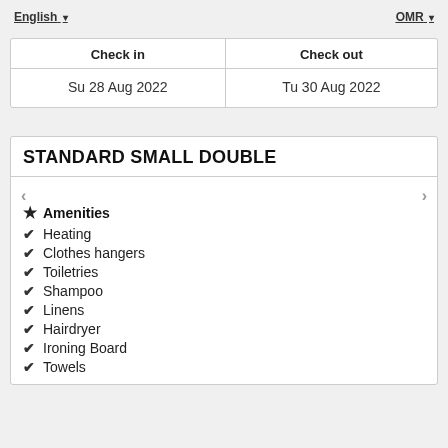English ▾    OMR ▾
| Check in | Check out |
| --- | --- |
| Su 28 Aug 2022 | Tu 30 Aug 2022 |
STANDARD SMALL DOUBLE
★ Amenities
✔ Heating
✔ Clothes hangers
✔ Toiletries
✔ Shampoo
✔ Linens
✔ Hairdryer
✔ Ironing Board
✔ Towels